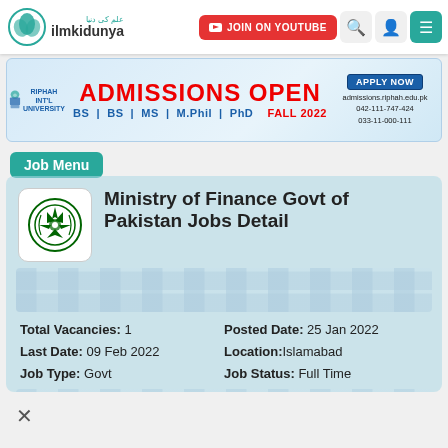ilmkidunya | JOIN ON YOUTUBE
[Figure (infographic): Riphah International University Admissions Open banner — ADMISSIONS OPEN in red, BS | BS | MS | M.Phil | PhD FALL 2022, Apply Now at admissions.riphah.edu.pk, 042-111-747-424, 033-11-000-111]
Job Menu
Ministry of Finance Govt of Pakistan Jobs Detail
Total Vacancies: 1
Posted Date: 25 Jan 2022
Last Date: 09 Feb 2022
Location: Islamabad
Job Type: Govt
Job Status: Full Time